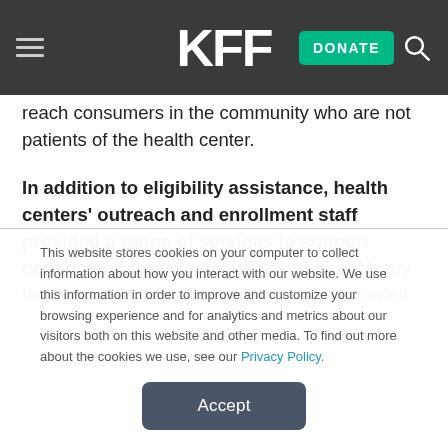KFF
reach consumers in the community who are not patients of the health center.
In addition to eligibility assistance, health centers' outreach and enrollment staff provided a range of services to support consumers seeking health insurance. Nearly three-quarters (72%) of health centers reported
This website stores cookies on your computer to collect information about how you interact with our website. We use this information in order to improve and customize your browsing experience and for analytics and metrics about our visitors both on this website and other media. To find out more about the cookies we use, see our Privacy Policy.